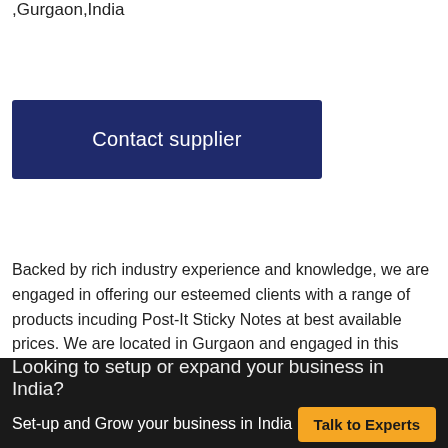,Gurgaon,India
Contact supplier
Backed by rich industry experience and knowledge, we are engaged in offering our esteemed clients with a range of products incuding Post-It Sticky Notes at best available prices. We are located in Gurgaon and engaged in this business since 16 Years 7 Months 28 Days . Extensively used in various industries, our products are manufactured using optimum quality raw material and sophisticated technology.
Looking to setup or expand your business in India?
Set-up and Grow your business in India
Talk to Experts